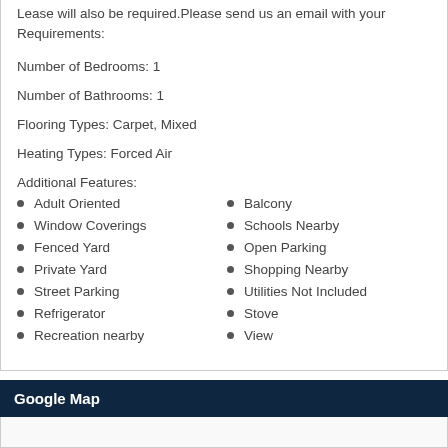Lease will also be required.Please send us an email with your Requirements:
Number of Bedrooms: 1
Number of Bathrooms: 1
Flooring Types: Carpet, Mixed
Heating Types: Forced Air
Additional Features:
Adult Oriented
Window Coverings
Fenced Yard
Private Yard
Street Parking
Refrigerator
Recreation nearby
Balcony
Schools Nearby
Open Parking
Shopping Nearby
Utilities Not Included
Stove
View
Google Map